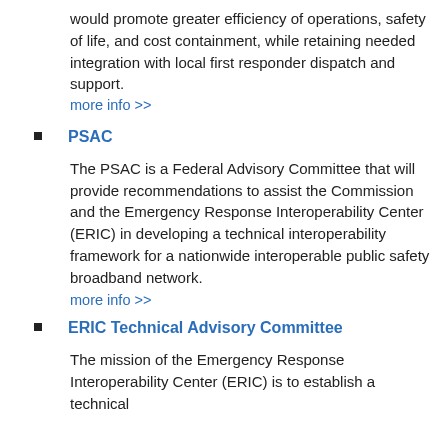would promote greater efficiency of operations, safety of life, and cost containment, while retaining needed integration with local first responder dispatch and support.
more info >>
PSAC
The PSAC is a Federal Advisory Committee that will provide recommendations to assist the Commission and the Emergency Response Interoperability Center (ERIC) in developing a technical interoperability framework for a nationwide interoperable public safety broadband network.
more info >>
ERIC Technical Advisory Committee
The mission of the Emergency Response Interoperability Center (ERIC) is to establish a technical